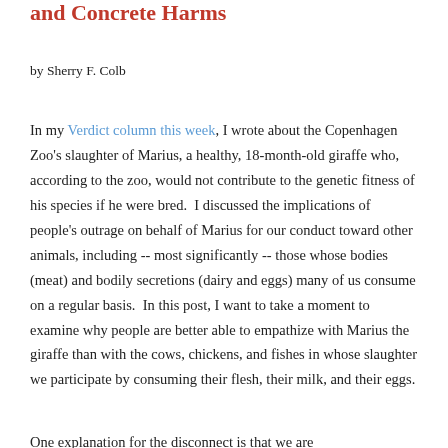and Concrete Harms
by Sherry F. Colb
In my Verdict column this week, I wrote about the Copenhagen Zoo's slaughter of Marius, a healthy, 18-month-old giraffe who, according to the zoo, would not contribute to the genetic fitness of his species if he were bred.  I discussed the implications of people's outrage on behalf of Marius for our conduct toward other animals, including -- most significantly -- those whose bodies (meat) and bodily secretions (dairy and eggs) many of us consume on a regular basis.  In this post, I want to take a moment to examine why people are better able to empathize with Marius the giraffe than with the cows, chickens, and fishes in whose slaughter we participate by consuming their flesh, their milk, and their eggs.
One explanation for the disconnect is that we are